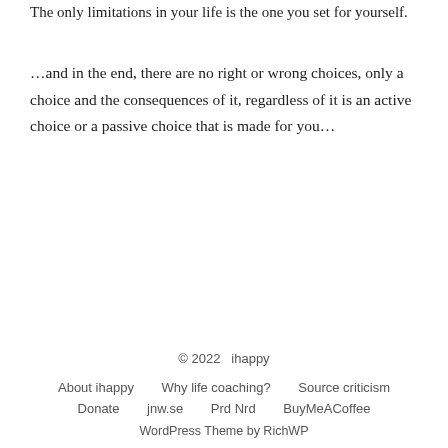The only limitations in your life is the one you set for yourself.
…and in the end, there are no right or wrong choices, only a choice and the consequences of it, regardless of it is an active choice or a passive choice that is made for you…
© 2022  ihappy
About ihappy   Why life coaching?   Source criticism
Donate   jnw.se   Prd Nrd   BuyMeACoffee
WordPress Theme by RichWP